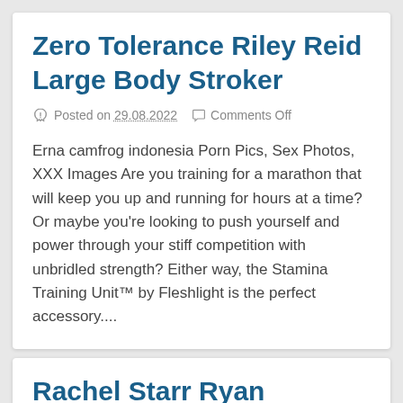Zero Tolerance Riley Reid Large Body Stroker
Posted on 29.08.2022  Comments Off
Erna camfrog indonesia Porn Pics, Sex Photos, XXX Images Are you training for a marathon that will keep you up and running for hours at a time? Or maybe you're looking to push yourself and power through your stiff competition with unbridled strength? Either way, the Stamina Training Unit™ by Fleshlight is the perfect accessory....
Rachel Starr Ryan